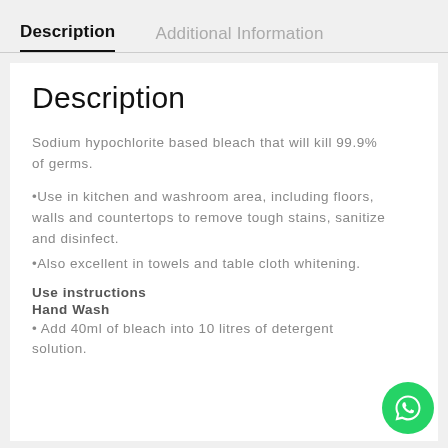Description | Additional Information
Description
Sodium hypochlorite based bleach that will kill 99.9% of germs.
•Use in kitchen and washroom area, including floors, walls and countertops to remove tough stains, sanitize and disinfect.
•Also excellent in towels and table cloth whitening.
Use instructions
Hand Wash
• Add 40ml of bleach into 10 litres of detergent solution.